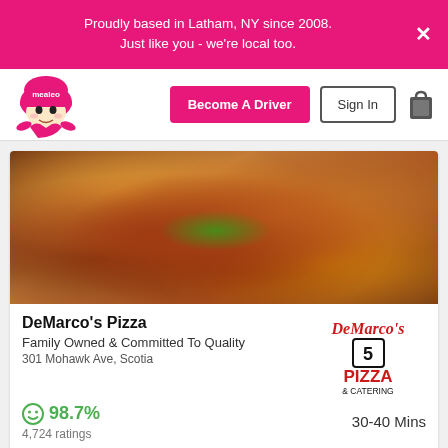Proudly based in Latham, NY since 2008. Just like you - we're local too.
[Figure (logo): Mealeo delivery mascot logo - cartoon character wearing a pink cap with 'mealeo' text]
Become A Driver
Sign In
[Figure (photo): Photo of pasta dish with meat sauce and fresh herbs on a decorative plate]
DeMarco's Pizza
Family Owned & Committed To Quality
301 Mohawk Ave, Scotia
[Figure (logo): DeMarco's Pizza & Catering logo in red and black text]
98.7%
4,724 ratings
30-40 Mins
[Figure (photo): Partial photo of a pepperoni pizza visible at the bottom of the page]